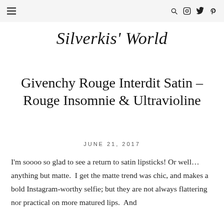Silverkis' World — navigation header with hamburger menu and icons
Silverkis' World
Givenchy Rouge Interdit Satin – Rouge Insomnie & Ultravioline
June 21, 2017
I'm soooo so glad to see a return to satin lipsticks! Or well… anything but matte.  I get the matte trend was chic, and makes a bold Instagram-worthy selfie; but they are not always flattering nor practical on more matured lips.  And